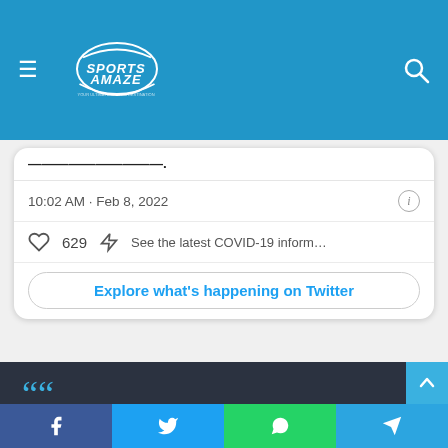SportsAmaze
10:02 AM · Feb 8, 2022
629  See the latest COVID-19 information on T...
Explore what's happening on Twitter
[Figure (screenshot): Dark background quote block with large cyan quotation marks, italic white and cyan text: 'Pujara and Rahane on 17th February. #RanjiTrophy https://t.co/Di5PFYQotY pic.twitter.com/qISQBYk4OD']
Facebook  Twitter  WhatsApp  Telegram social share buttons